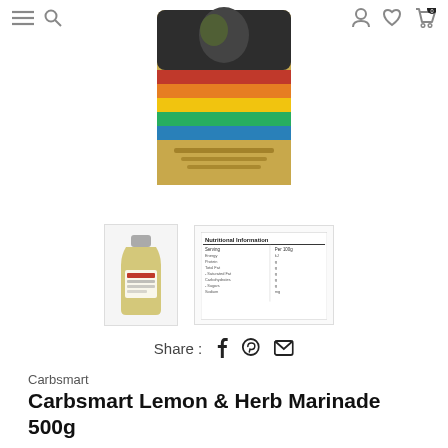Navigation icons: menu, search, user, wishlist, cart
[Figure (photo): Product image of Carbsmart Lemon & Herb Marinade 500g bottle/package, showing colorful label with bird illustration, displayed against white background]
[Figure (photo): Thumbnail image of Carbsmart Lemon & Herb Marinade bottle]
[Figure (photo): Thumbnail image showing nutritional information label of Carbsmart Lemon & Herb Marinade]
Share : f p ✉
Carbsmart
Carbsmart Lemon & Herb Marinade 500g
★★★★★ (0 stars rating)
$10.99
or 4 interest-free payments of $2.76 fortnightly with